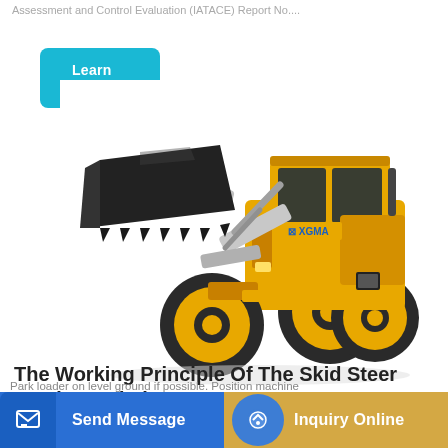Assessment and Control Evaluation (IATACE) Report No....
[Figure (illustration): Learn More button — teal/cyan rounded rectangle with white bold text 'Learn More']
[Figure (photo): XGMA brand yellow wheel loader / front-end loader with black bucket raised, on white background]
The Working Principle Of The Skid Steer Loader And The
Park loader on level ground if possible. Position machine
[Figure (other): Send Message button — blue background with dark blue icon box on left and white bold text 'Send Message']
[Figure (other): Inquiry Online button — tan/gold background with blue circular icon on left and white bold text 'Inquiry Online']